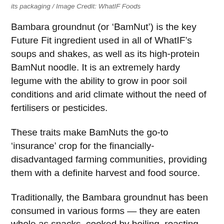its packaging / Image Credit: WhatIF Foods
Bambara groundnut (or ‘BamNut’) is the key Future Fit ingredient used in all of WhatIF’s soups and shakes, as well as its high-protein BamNut noodle. It is an extremely hardy legume with the ability to grow in poor soil conditions and arid climate without the need of fertilisers or pesticides.
These traits make BamNuts the go-to ‘insurance’ crop for the financially-disadvantaged farming communities, providing them with a definite harvest and food source.
Traditionally, the Bambara groundnut has been consumed in various forms — they are eaten whole as snacks, cooked by boiling, roasting, and frying, or mixed into porridges and breads as flour.